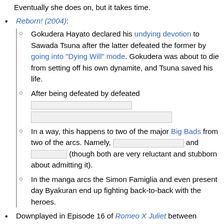Eventually she does on, but it takes time.
Reborn! (2004):
Gokudera Hayato declared his undying devotion to Sawada Tsuna after the latter defeated the former by going into "Dying Will" mode. Gokudera was about to die from setting off his own dynamite, and Tsuna saved his life.
After being defeated by defeated [redacted]
In a way, this happens to two of the major Big Bads from two of the arcs. Namely, [redacted] and [redacted] (though both are very reluctant and stubborn about admitting it).
In the manga arcs the Simon Famiglia and even present day Byakuran end up fighting back-to-back with the heroes.
Downplayed in Episode 16 of Romeo X Juliet between Hermione Romeo's Fiancee and Juliet Romeo's lover.
Downplayed in Episode 16 of Romeo X Juliet between Hermione Romeo's Fiancee and Juliet Romeo's lover.